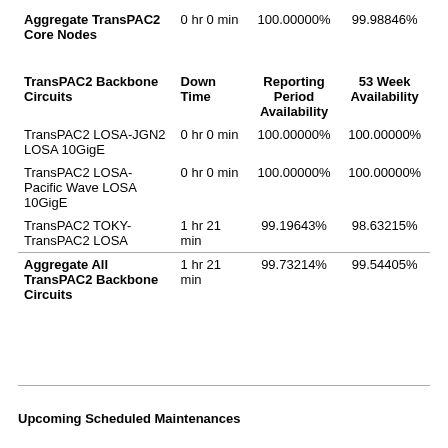|  | Down Time | Reporting Period Availability | 53 Week Availability |
| --- | --- | --- | --- |
| Aggregate TransPAC2 Core Nodes | 0 hr 0 min | 100.00000% | 99.98846% |
| TransPAC2 Backbone Circuits | Down Time | Reporting Period Availability | 53 Week Availability |
| TransPAC2 LOSA-JGN2 LOSA 10GigE | 0 hr 0 min | 100.00000% | 100.00000% |
| TransPAC2 LOSA-Pacific Wave LOSA 10GigE | 0 hr 0 min | 100.00000% | 100.00000% |
| TransPAC2 TOKY-TransPAC2 LOSA | 1 hr 21 min | 99.19643% | 98.63215% |
| Aggregate All TransPAC2 Backbone Circuits | 1 hr 21 min | 99.73214% | 99.54405% |
Upcoming Scheduled Maintenances